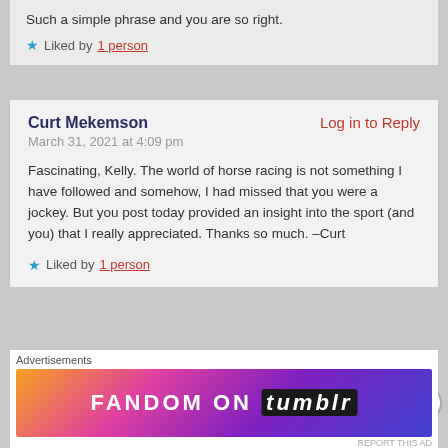Such a simple phrase and you are so right.
Liked by 1 person
Curt Mekemson
Log in to Reply
March 31, 2021 at 4:09 pm
Fascinating, Kelly. The world of horse racing is not something I have followed and somehow, I had missed that you were a jockey. But you post today provided an insight into the sport (and you) that I really appreciated. Thanks so much. –Curt
Liked by 1 person
Advertisements
[Figure (other): Fandom on Tumblr advertisement banner with colorful gradient background]